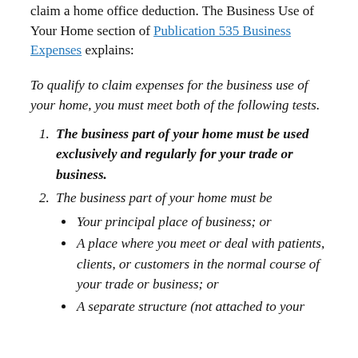claim a home office deduction. The Business Use of Your Home section of Publication 535 Business Expenses explains:
To qualify to claim expenses for the business use of your home, you must meet both of the following tests.
1. The business part of your home must be used exclusively and regularly for your trade or business.
2. The business part of your home must be
Your principal place of business; or
A place where you meet or deal with patients, clients, or customers in the normal course of your trade or business; or
A separate structure (not attached to your